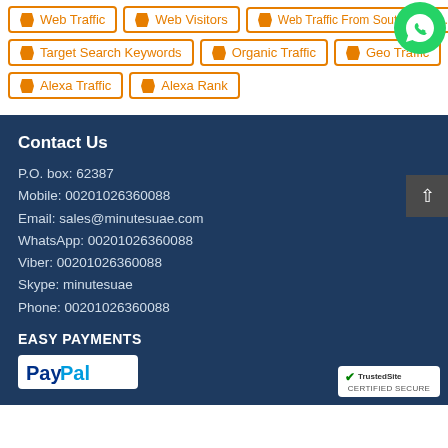Web Traffic
Web Visitors
Web Traffic From South America
Target Search Keywords
Organic Traffic
Geo Traffic
Alexa Traffic
Alexa Rank
[Figure (logo): WhatsApp green logo icon]
Contact Us
P.O. box: 62387
Mobile: 00201026360088
Email: sales@minutesuae.com
WhatsApp: 00201026360088
Viber: 00201026360088
Skype: minutesuae
Phone: 00201026360088
EASY PAYMENTS
[Figure (logo): PayPal logo]
[Figure (logo): TrustedSite Certified Secure badge]